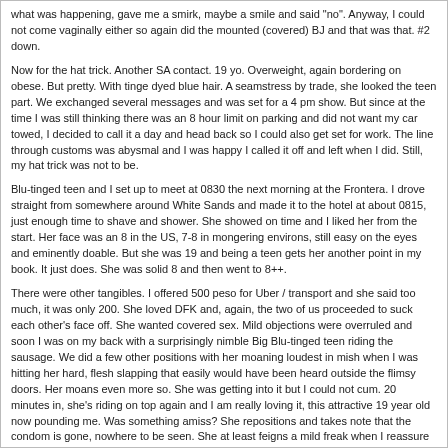what was happening, gave me a smirk, maybe a smile and said "no". Anyway, I could not come vaginally either so again did the mounted (covered) BJ and that was that. #2 down.
Now for the hat trick. Another SA contact. 19 yo. Overweight, again bordering on obese. But pretty. With tinge dyed blue hair. A seamstress by trade, she looked the teen part. We exchanged several messages and was set for a 4 pm show. But since at the time I was still thinking there was an 8 hour limit on parking and did not want my car towed, I decided to call it a day and head back so I could also get set for work. The line through customs was abysmal and I was happy I called it off and left when I did. Still, my hat trick was not to be.
Blu-tinged teen and I set up to meet at 0830 the next morning at the Frontera. I drove straight from somewhere around White Sands and made it to the hotel at about 0815, just enough time to shave and shower. She showed on time and I liked her from the start. Her face was an 8 in the US, 7-8 in mongering environs, still easy on the eyes and eminently doable. But she was 19 and being a teen gets her another point in my book. It just does. She was solid 8 and then went to 8++.
There were other tangibles. I offered 500 peso for Uber / transport and she said too much, it was only 200. She loved DFK and, again, the two of us proceeded to suck each other's face off. She wanted covered sex. Mild objections were overruled and soon I was on my back with a surprisingly nimble Big Blu-tinged teen riding the sausage. We did a few other positions with her moaning loudest in mish when I was hitting her hard, flesh slapping that easily would have been heard outside the flimsy doors. Her moans even more so. She was getting into it but I could not cum. 20 minutes in, she's riding on top again and I am really loving it, this attractive 19 year old now pounding me. Was something amiss? She repositions and takes note that the condom is gone, nowhere to be seen. She at least feigns a mild freak when I reassure her, reminding her of who I am and then instruct her on assuming the Sims position whereupon I proceed to employ my amateurish if not professional condom extraction technique. I think that got me a few bonus points and I confirmed what she may have been thinking; that I was not going to cum with a condom on. I need to do something "sin condom". "Do you want anal? She typed on the google translate, LOL.